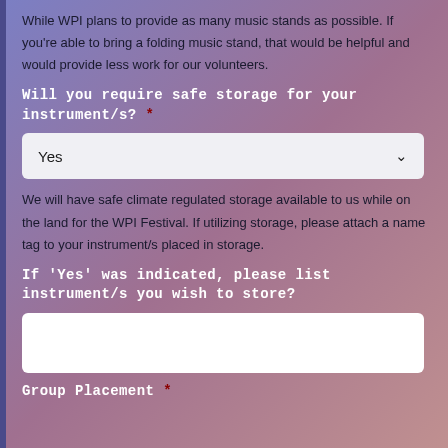While WPI plans to provide as many music stands as possible. If you're able to bring a folding music stand, that would be helpful and would provide less work for our volunteers.
Will you require safe storage for your instrument/s? *
Yes (dropdown selected)
We will have safe climate regulated storage available to us while on the land for the WPI Festival. If utilizing storage, please attach a name tag to your instrument/s placed in storage.
If 'Yes' was indicated, please list instrument/s you wish to store?
(text input box)
Group Placement *